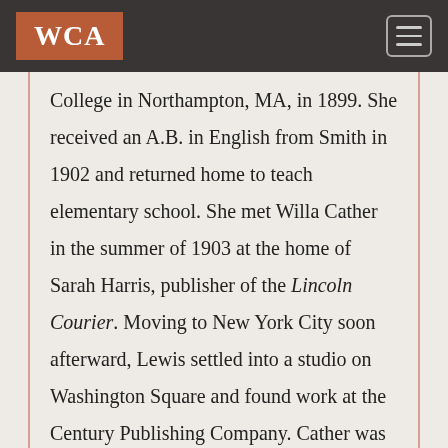WCA
College in Northampton, MA, in 1899. She received an A.B. in English from Smith in 1902 and returned home to teach elementary school. She met Willa Cather in the summer of 1903 at the home of Sarah Harris, publisher of the Lincoln Courier. Moving to New York City soon afterward, Lewis settled into a studio on Washington Square and found work at the Century Publishing Company. Cather was her guest when she visited the